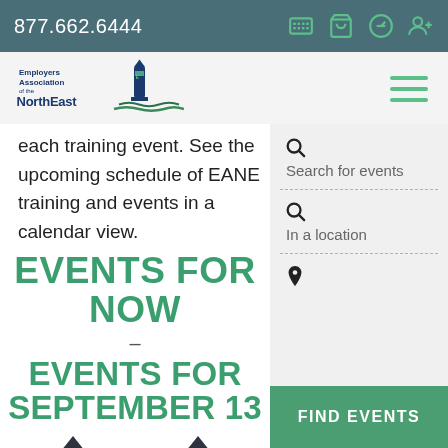877.662.6444
[Figure (logo): Employers Association of the NorthEast (EANE) logo with lighthouse graphic]
each training event. See the upcoming schedule of EANE training and events in a calendar view.
EVENTS FOR NOW
-
EVENTS FOR SEPTEMBER 13
Search for events
In a location
FIND EVENTS